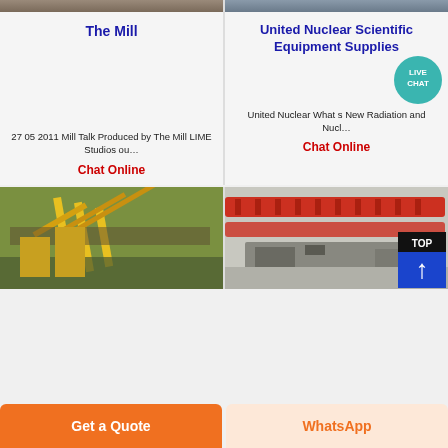[Figure (photo): Industrial mill equipment photo top left]
[Figure (photo): Industrial nuclear/scientific equipment photo top right]
The Mill
United Nuclear Scientific Equipment Supplies
27 05 2011  Mill Talk Produced by The Mill LIME Studios ou…
Chat Online
United Nuclear What s New Radiation and Nucl…
Chat Online
[Figure (photo): Yellow industrial crane/conveyor machinery outdoor]
[Figure (photo): Red industrial conveyor/shaker table equipment indoor]
Get a Quote
WhatsApp